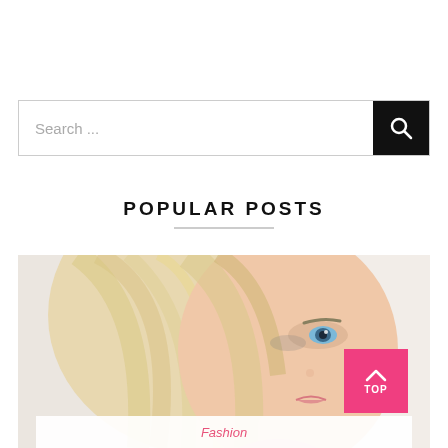Search ...
POPULAR POSTS
[Figure (photo): Close-up portrait of a blonde woman with blue eyes, looking at camera, hair falling across her face, light background]
Fashion